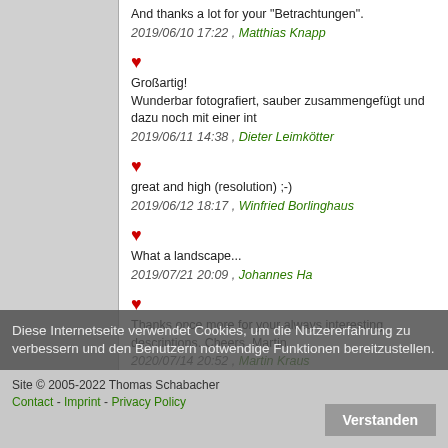And thanks a lot for your "Betrachtungen".
2019/06/10 17:22 , Matthias Knapp
Großartig!
Wunderbar fotografiert, sauber zusammengefügt und dazu noch mit einer int
2019/06/11 14:38 , Dieter Leimkötter
great and high (resolution) ;-)
2019/06/12 18:17 , Winfried Borlinghaus
What a landscape...
2019/07/21 20:09 , Johannes Ha
Thanks once more for your always interesting descriptions. Cheers, Martin
2020/07/14 20:52 , Martin Kraus
Leave a comment
Diese Internetseite verwendet Cookies, um die Nutzererfahrung zu verbessern und den Benutzern notwendige Funktionen bereitzustellen.
Site © 2005-2022 Thomas Schabacher
Contact - Imprint - Privacy Policy